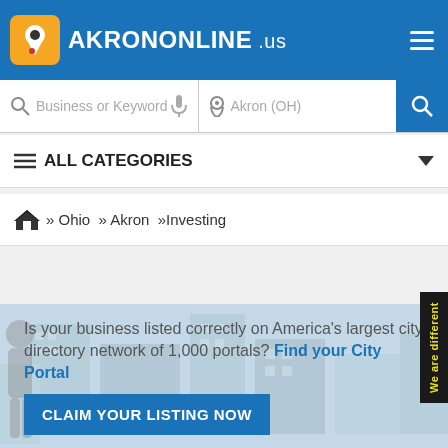AKRONONLINE.us
Business or Keyword | Akron (OH)
ALL CATEGORIES
» Ohio » Akron »Investing
We are different
Is your business listed correctly on America's largest city directory network of 1,000 portals? Find your City Portal
CLAIM YOUR LISTING NOW